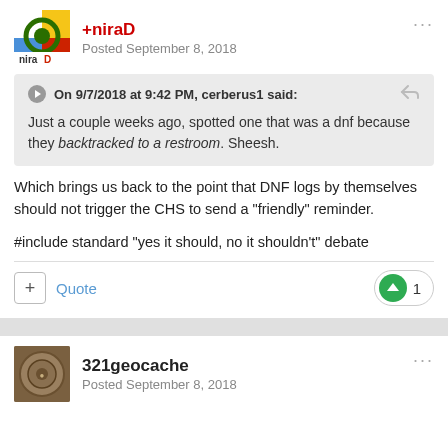[Figure (logo): niraD user avatar logo with colorful geometric design]
+niraD
Posted September 8, 2018
On 9/7/2018 at 9:42 PM, cerberus1 said:
Just a couple weeks ago, spotted one that was a dnf because they backtracked to a restroom.  Sheesh.
Which brings us back to the point that DNF logs by themselves should not trigger the CHS to send a “friendly” reminder.
#include standard „yes it should, no it shouldn’t” debate
Quote
1
[Figure (photo): 321geocache user avatar photo showing a bronze/coin disc]
321geocache
Posted September 8, 2018